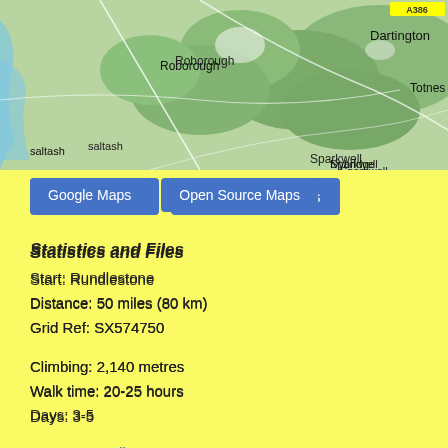[Figure (map): Topographic map showing areas including Roborough, Sparkwell, Ivybridge, Dartington, Totnes, Saltash, with green terrain and blue water features]
Google Maps | Open Source Maps (buttons)
Statistics and Files
Start: Rundlestone
Distance: 50 miles (80 km)
Grid Ref: SX574750
Climbing: 2,140 metres
Walk time: 20-25 hours
Days: 3-5
GPX Route File
Google Earth File
About Dartmoor
Ordnance Survey Explorer Map (1:25,000)